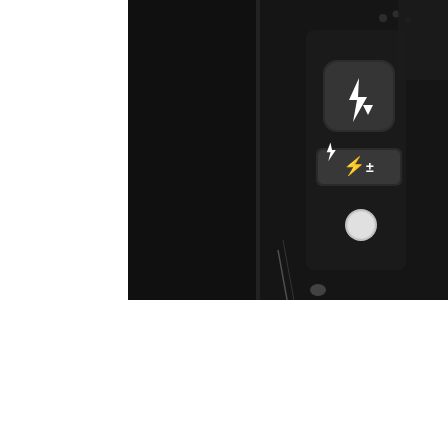[Figure (photo): Black and white close-up photograph of a Nikon camera body showing flash controls: a flash button with lightning bolt/down arrow icon, a flash compensation button with lightning bolt and +/- symbols, and a small round button below, on a textured dark surface.]
Nikon D800E** (May 2012) – The comments that apply to the D800 apply here too, though it's even more demanding on lenses, and shows up CA more than the regular D800. However, the lack of an AA filter means moire doesn't kick in until much finer structures are resolved. It's still the highest resolution Full Format at the moment – by a long, long stretch. It makes the D3x look like a beginner's camera. And though the images it produces are of course still the same as the camera it's based on, it's so effortless and accessible, than you forget how many pixels you're a